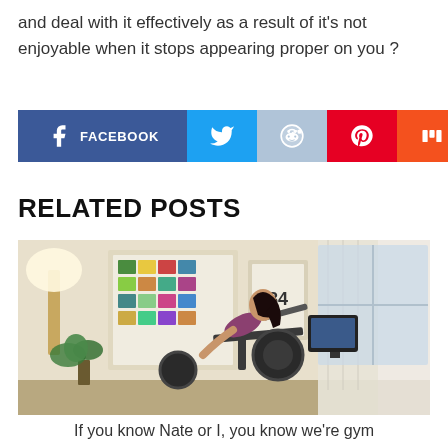and deal with it effectively as a result of it's not enjoyable when it stops appearing proper on you ?
[Figure (infographic): Social media share buttons: Facebook (dark blue), Twitter (light blue), Reddit (light blue-grey), Pinterest (red), Mix (orange), Email (blue)]
RELATED POSTS
[Figure (photo): A woman riding a stationary exercise bike in a home setting with framed posters on the wall and a monitor on the bike]
If you know Nate or I, you know we're gym